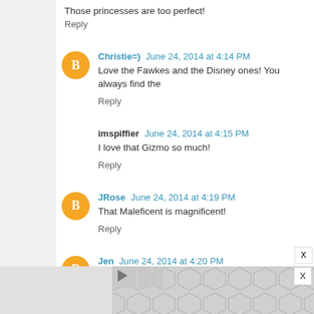Those princesses are too perfect!
Reply
Christie=) June 24, 2014 at 4:14 PM
Love the Fawkes and the Disney ones! You always find the
Reply
imspiffier June 24, 2014 at 4:15 PM
I love that Gizmo so much!
Reply
JRose June 24, 2014 at 4:19 PM
That Maleficent is magnificent!
Reply
Jen June 24, 2014 at 4:20 PM